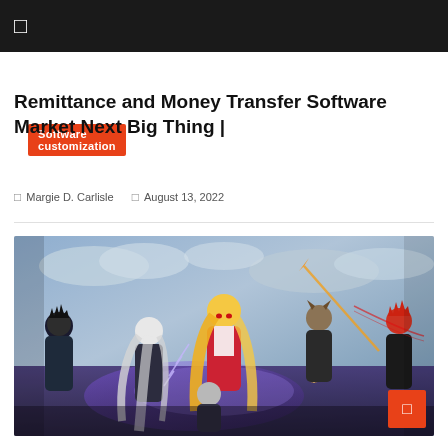☰
Software customization
Remittance and Money Transfer Software Market Next Big Thing |
Margie D. Carlisle   August 13, 2022
[Figure (illustration): Anime-style group of fantasy characters in action poses with weapons, featuring characters with varying hair colors and costumes against a stormy sky background.]